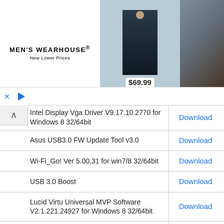[Figure (screenshot): Men's Wearhouse advertisement banner showing suit for $69.99 with couple photo]
| Software/Driver Name | Action |
| --- | --- |
| Intel Display Vga Driver V9.17.10.2770 for Windows 8 32/64bit | Download |
| Asus USB3.0 FW Update Tool v3.0 | Download |
| Wi-Fi_Go! Ver 5.00.31 for win7/8 32/64bit | Download |
| USB 3.0 Boost | Download |
| Lucid Virtu Universal MVP Software V2.1.221.24927 for Windows 8 32/64bit | Download |
| ASUS AI Suite II V2.01.01 for Windows XP 32/64bit & Win7 32b/64bit & Win8 32/64bit | Download |
| Disk Unlocker V2.1.3 for Windows XP 32/64bit, Win7 32/64bit & Win8 32/64bit | Download |
| USB3_Boost for Windows 8 | Download |